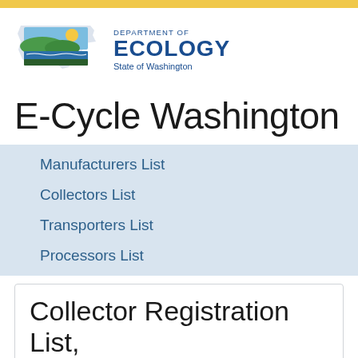[Figure (logo): Washington State Department of Ecology logo with state outline and landscape imagery]
E-Cycle Washington
Manufacturers List
Collectors List
Transporters List
Processors List
Collector Registration List,